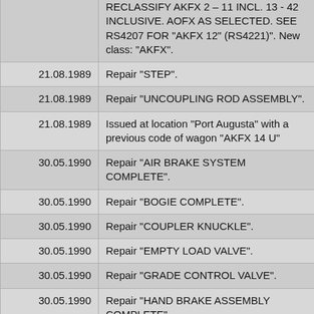| Date | Description |
| --- | --- |
|  | RECLASSIFY AKFX 2 - 11 INCL. 13 - 42 INCLUSIVE. AOFX AS SELECTED. SEE RS4207 FOR "AKFX 12" (RS4221)". New class: "AKFX". |
| 21.08.1989 | Repair "STEP". |
| 21.08.1989 | Repair "UNCOUPLING ROD ASSEMBLY". |
| 21.08.1989 | Issued at location "Port Augusta" with a previous code of wagon "AKFX 14 U" |
| 30.05.1990 | Repair "AIR BRAKE SYSTEM COMPLETE". |
| 30.05.1990 | Repair "BOGIE COMPLETE". |
| 30.05.1990 | Repair "COUPLER KNUCKLE". |
| 30.05.1990 | Repair "EMPTY LOAD VALVE". |
| 30.05.1990 | Repair "GRADE CONTROL VALVE". |
| 30.05.1990 | Repair "HAND BRAKE ASSEMBLY COMPLETE". |
| 30.05.1990 | Repair "SIDE SILL". |
| 30.05.1990 | Repair "STEP". |